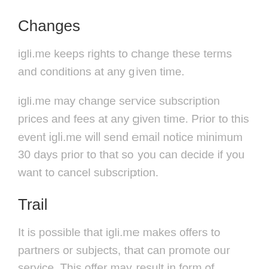Changes
igli.me keeps rights to change these terms and conditions at any given time.
igli.me may change service subscription prices and fees at any given time. Prior to this event igli.me will send email notice minimum 30 days prior to that so you can decide if you want to cancel subscription.
Trail
It is possible that igli.me makes offers to partners or subjects, that can promote our service. This offer may result in form of discount on subscription fee. By